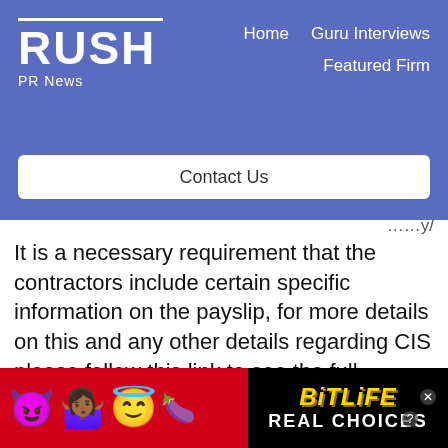RUSH PR News — Home | Guru Interviews | Featured Firm | Contact Us
It is a necessary requirement that the contractors include certain specific information on the payslip, for more details on this and any other details regarding CIS please follow this link to see the full document: http://www.kingandtaylor
[Figure (screenshot): BitLife advertisement banner with emoji characters (devil, woman shrugging, angel face, sperm), BitLife logo in yellow on black background, and 'REAL CHOICES' text in white on black background, on red background.]